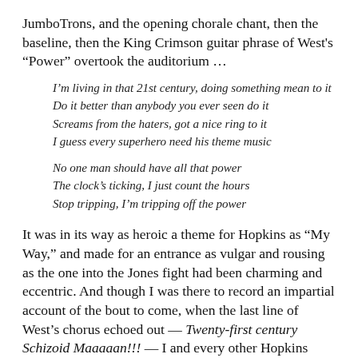JumboTrons, and the opening chorale chant, then the baseline, then the King Crimson guitar phrase of West's “Power” overtook the auditorium …
I’m living in that 21st century, doing something mean to it
Do it better than anybody you ever seen do it
Screens from the haters, got a nice ring to it
I guess every superhero need his theme music

No one man should have all that power
The clock’s ticking, I just count the hours
Stop tripping, I’m tripping off the power
It was in its way as heroic a theme for Hopkins as “My Way,” and made for an entrance as vulgar and rousing as the one into the Jones fight had been charming and eccentric. And though I was there to record an impartial account of the bout to come, when the last line of West’s chorus echoed out — Twenty-first century Schizoid Maaaaan!!! — I and every other Hopkins admirer resolved there was no question but